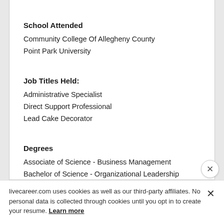School Attended
Community College Of Allegheny County
Point Park University
Job Titles Held:
Administrative Specialist
Direct Support Professional
Lead Cake Decorator
Degrees
Associate of Science - Business Management
Bachelor of Science - Organizational Leadership
livecareer.com uses cookies as well as our third-party affiliates. No personal data is collected through cookies until you opt in to create your resume. Learn more